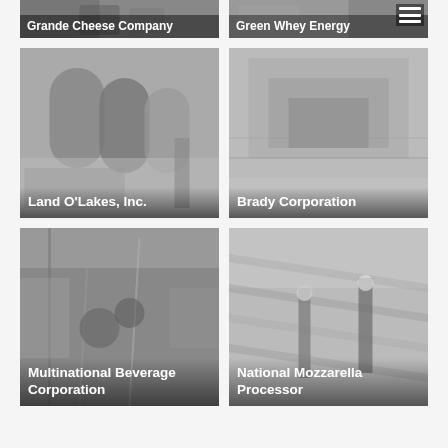[Figure (photo): Grande Cheese Company - industrial facility, grayscale]
[Figure (photo): Green Whey Energy - industrial facility with equipment, grayscale]
[Figure (photo): Land O'Lakes, Inc. - large industrial storage tanks, grayscale]
[Figure (photo): Brady Corporation - aerial view of facility/campus, grayscale]
[Figure (photo): Multinational Beverage Corporation - interior industrial piping, grayscale]
[Figure (photo): National Mozzarella Processor - workers on solar panel array, grayscale]